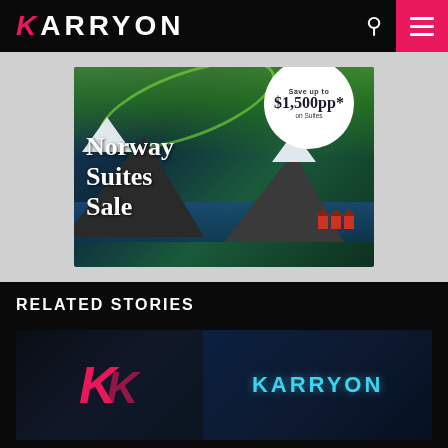KARRYON
[Figure (photo): Norway Suites Sale advertisement banner featuring aurora borealis over snowy mountain fjord with red houses. Badge reads: Save up to $1,500pp* on Suites. Main text: Norway Suites Sale]
RELATED STORIES
[Figure (photo): Karryon website thumbnail showing the Karryon logo (pink K) on left side and KARRYON text in cyan on right side with a map/globe background, suggesting a technology or travel industry story]